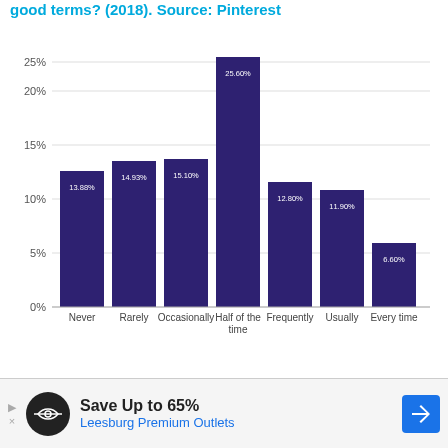good terms? (2018). Source: Pinterest
[Figure (bar-chart): good terms? (2018). Source: Pinterest]
[Figure (infographic): Advertisement banner: Save Up to 65% Leesburg Premium Outlets]